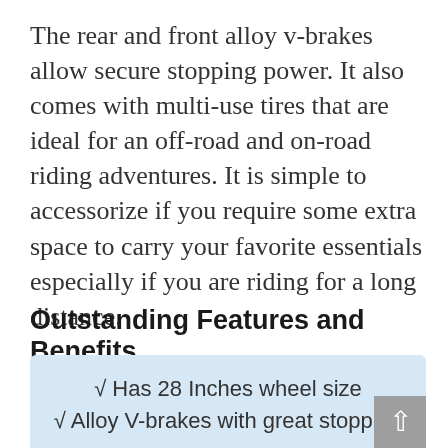The rear and front alloy v-brakes allow secure stopping power. It also comes with multi-use tires that are ideal for an off-road and on-road riding adventures. It is simple to accessorize if you require some extra space to carry your favorite essentials especially if you are riding for a long distance.
Outstanding Features and Benefits
√ Has 28 Inches wheel size
√ Alloy V-brakes with great stopping power